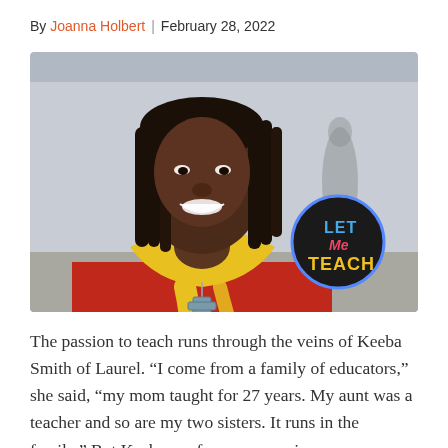By Joanna Holbert | February 28, 2022
[Figure (photo): Portrait photo of Keeba Smith, a Black woman with long dreadlocks, wearing a red hoodie and yellow scarf with a cross necklace, smiling at the camera outdoors. A circular 'Let Me Teach' logo is overlaid in the lower right of the image.]
The passion to teach runs through the veins of Keeba Smith of Laurel. “I come from a family of educators,” she said, “my mom taught for 27 years. My aunt was a teacher and so are my two sisters. It runs in the family.” But Keeba ran from a career in